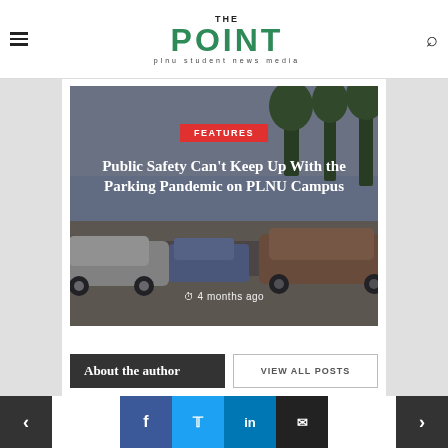THE POINT | plnu student news media
[Figure (photo): Hero image of a parking lot with cars under a cloudy/hazy sky, with trees in background. Overlaid with FEATURES badge, article title, and timestamp.]
Public Safety Can't Keep Up With the Parking Pandemic on PLNU Campus
4 months ago
About the author
VIEW ALL POSTS
< | f | t | in | email | >